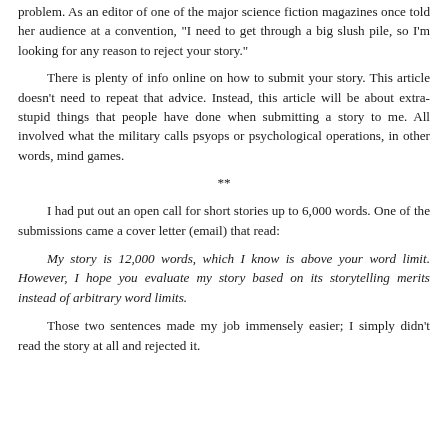problem. As an editor of one of the major science fiction magazines once told her audience at a convention, "I need to get through a big slush pile, so I'm looking for any reason to reject your story."
There is plenty of info online on how to submit your story. This article doesn't need to repeat that advice. Instead, this article will be about extra-stupid things that people have done when submitting a story to me. All involved what the military calls psyops or psychological operations, in other words, mind games.
**
I had put out an open call for short stories up to 6,000 words. One of the submissions came a cover letter (email) that read:
My story is 12,000 words, which I know is above your word limit. However, I hope you evaluate my story based on its storytelling merits instead of arbitrary word limits.
Those two sentences made my job immensely easier; I simply didn't read the story at all and rejected it.